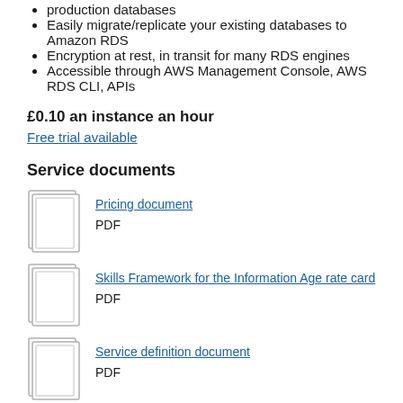production databases
Easily migrate/replicate your existing databases to Amazon RDS
Encryption at rest, in transit for many RDS engines
Accessible through AWS Management Console, AWS RDS CLI, APIs
£0.10 an instance an hour
Free trial available
Service documents
Pricing document
PDF
Skills Framework for the Information Age rate card
PDF
Service definition document
PDF
Terms and conditions
PDF